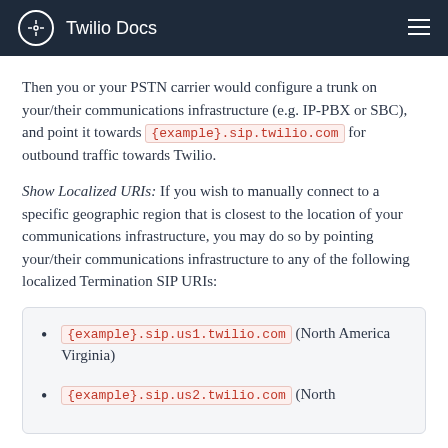Twilio Docs
Then you or your PSTN carrier would configure a trunk on your/their communications infrastructure (e.g. IP-PBX or SBC), and point it towards {example}.sip.twilio.com for outbound traffic towards Twilio.
Show Localized URIs: If you wish to manually connect to a specific geographic region that is closest to the location of your communications infrastructure, you may do so by pointing your/their communications infrastructure to any of the following localized Termination SIP URIs:
{example}.sip.us1.twilio.com (North America Virginia)
{example}.sip.us2.twilio.com (North